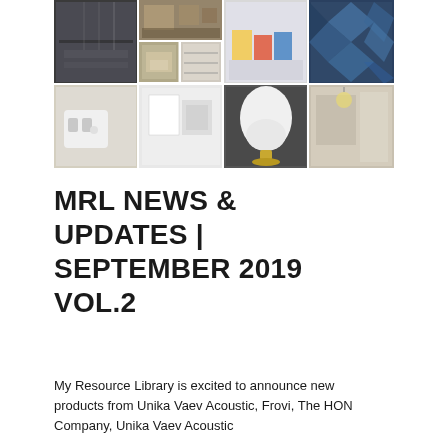[Figure (photo): Collage of interior design and product photos arranged in a grid: office spaces, acoustic panels, chairs, furniture, lighting, and interior decor images in a mosaic layout]
MRL NEWS & UPDATES | SEPTEMBER 2019 VOL.2
My Resource Library is excited to announce new products from Unika Vaev Acoustic, Frovi, The HON Company, Unika Vaev Acoustic